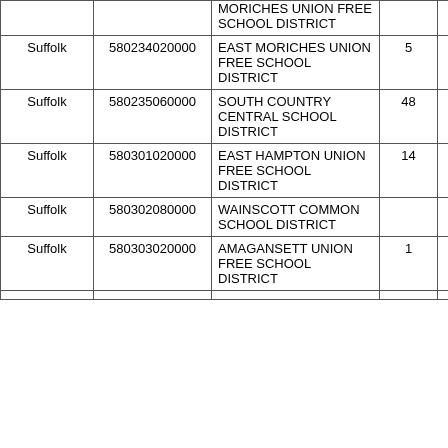| County | Code | District Name | Count |  |  |
| --- | --- | --- | --- | --- | --- |
|  |  | MORICHES UNION FREE SCHOOL DISTRICT |  |  |  |
| Suffolk | 580234020000 | EAST MORICHES UNION FREE SCHOOL DISTRICT | 5 |  |  |
| Suffolk | 580235060000 | SOUTH COUNTRY CENTRAL SCHOOL DISTRICT | 48 |  |  |
| Suffolk | 580301020000 | EAST HAMPTON UNION FREE SCHOOL DISTRICT | 14 |  |  |
| Suffolk | 580302080000 | WAINSCOTT COMMON SCHOOL DISTRICT |  |  |  |
| Suffolk | 580303020000 | AMAGANSETT UNION FREE SCHOOL DISTRICT | 1 |  |  |